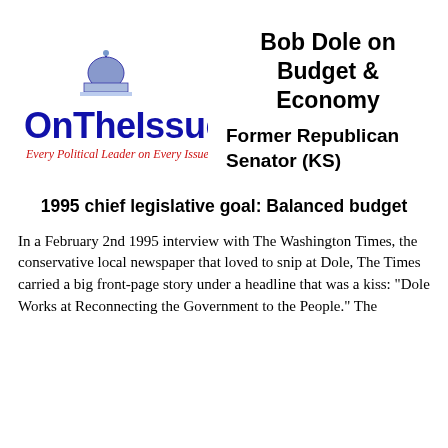[Figure (logo): OnTheIssues logo with capitol dome graphic above blue text 'OnTheIssues' and red italic tagline 'Every Political Leader on Every Issue']
Bob Dole on Budget & Economy
Former Republican Senator (KS)
1995 chief legislative goal: Balanced budget
In a February 2nd 1995 interview with The Washington Times, the conservative local newspaper that loved to snip at Dole, The Times carried a big front-page story under a headline that was a kiss: "Dole Works at Reconnecting the Government to the People." The